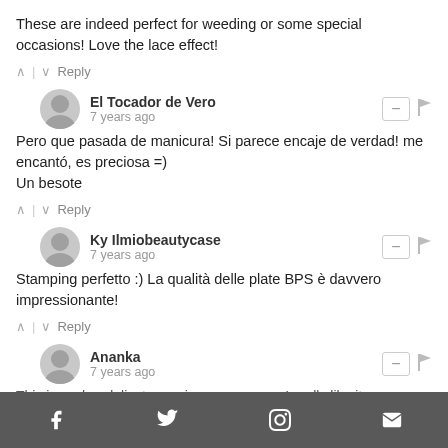These are indeed perfect for weeding or some special occasions! Love the lace effect!
^ | v  Reply
El Tocador de Vero
7 years ago
Pero que pasada de manicura! Si parece encaje de verdad! me encantó, es preciosa =)
Un besote
^ | v  Reply
Ky Ilmiobeautycase
7 years ago
Stamping perfetto :) La qualità delle plate BPS è davvero impressionante!
^ | v  Reply
Ananka
7 years ago
This is such a delicate mani - so gorgeous. I really like it
Facebook  Twitter  Pinterest  Email